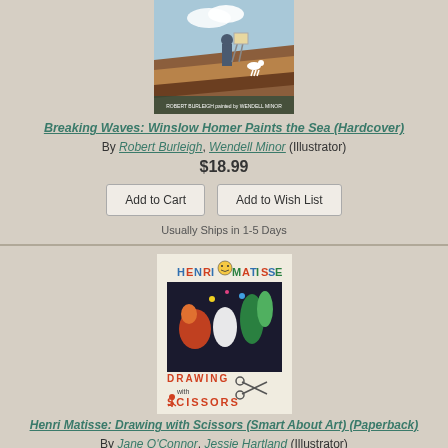[Figure (illustration): Book cover for Breaking Waves: Winslow Homer Paints the Sea, showing a man with a dog on a rooftop or landscape, painted scene]
Breaking Waves: Winslow Homer Paints the Sea (Hardcover)
By Robert Burleigh, Wendell Minor (Illustrator)
$18.99
Add to Cart | Add to Wish List
Usually Ships in 1-5 Days
[Figure (illustration): Book cover for Henri Matisse: Drawing with Scissors (Smart About Art), colorful illustration with Henri Matisse text and drawing with scissors title]
Henri Matisse: Drawing with Scissors (Smart About Art) (Paperback)
By Jane O'Connor, Jessie Hartland (Illustrator)
$7.99
We're sorry, this book is unavailable from our distributor.